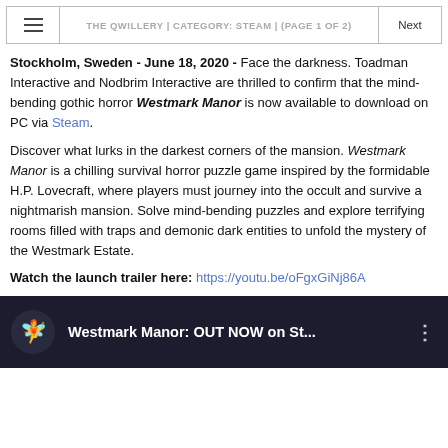THE QWILLERY | CATEGORY: STEAM | (PAGE 1 OF 2)
Stockholm, Sweden - June 18, 2020 - Face the darkness. Toadman Interactive and Nodbrim Interactive are thrilled to confirm that the mind-bending gothic horror Westmark Manor is now available to download on PC via Steam.
Discover what lurks in the darkest corners of the mansion. Westmark Manor is a chilling survival horror puzzle game inspired by the formidable H.P. Lovecraft, where players must journey into the occult and survive a nightmarish mansion. Solve mind-bending puzzles and explore terrifying rooms filled with traps and demonic dark entities to unfold the mystery of the Westmark Estate.
Watch the launch trailer here: https://youtu.be/oFgxGiNj86A
[Figure (screenshot): Video thumbnail showing Westmark Manor: OUT NOW on St... with a logo icon on dark background]